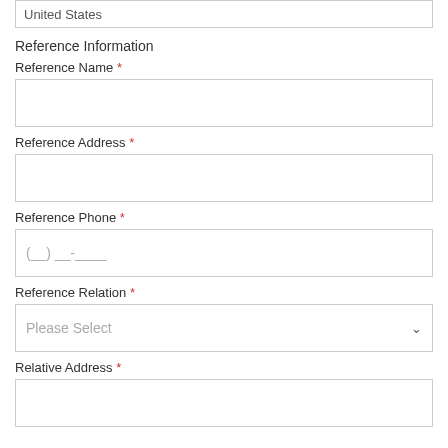United States
Reference Information
Reference Name *
Reference Address *
Reference Phone *
(__) __-____
Reference Relation *
Please Select
Relative Address *